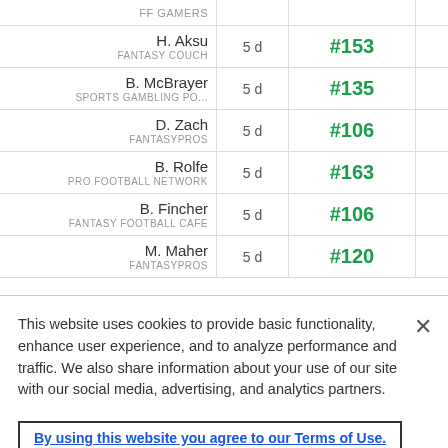| Expert | Age | Rank 1 | Rank 2 |  |
| --- | --- | --- | --- | --- |
| FF GAMERS |  |  |  |  |
| H. Aksu / FANTASY COUCH | 5 d | #153 | #187 | - |
| B. McBrayer / SPORTS GAMBLING PO... | 5 d | #135 | #193 | - |
| D. Zach / FANTASYPROS | 5 d | #106 | #237 | - |
| B. Rolfe / PRO FOOTBALL NETWORK | 5 d | #163 | #260 | - |
| B. Fincher / FANTASY FOOTBALL CAFE | 5 d | #106 | #190 | - |
| M. Maher / FANTASYPROS | 5 d | #120 | #325 | - |
This website uses cookies to provide basic functionality, enhance user experience, and to analyze performance and traffic. We also share information about your use of our site with our social media, advertising, and analytics partners.
By using this website you agree to our Terms of Use.
Do Not Sell My Personal Information
Accept Cookies